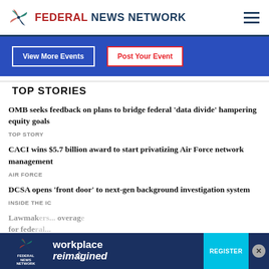FEDERAL NEWS NETWORK
[Figure (other): Blue banner with 'View More Events' and 'Post Your Event' buttons]
TOP STORIES
OMB seeks feedback on plans to bridge federal ‘data divide’ hampering equity goals
TOP STORY
CACI wins $5.7 billion award to start privatizing Air Force network management
AIR FORCE
DCSA opens ‘front door’ to next-gen background investigation system
INSIDE THE IC
Lawmakers... coverage for fede...
BENEFITS
[Figure (screenshot): Ad banner: Federal News Network workplace reimagined - REGISTER button]